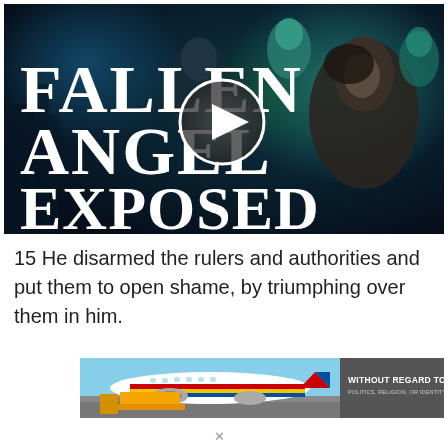[Figure (screenshot): Video thumbnail for 'Fallen Angels Exposed' showing dark dramatic scene with hooded figures and supernatural imagery. Large white serif text reads 'FALLEN ANGELS EXPOSED' with a circular play button overlay in the center.]
15 He disarmed the rulers and authorities and put them to open shame, by triumphing over them in him.
[Figure (photo): Advertisement banner showing a Southwest Airlines airplane being loaded with cargo on tarmac. Right side has dark gray background with text 'WITHOUT REGARD TO POLITICS, RELIGION, OR IDENTITY TO PAY.']